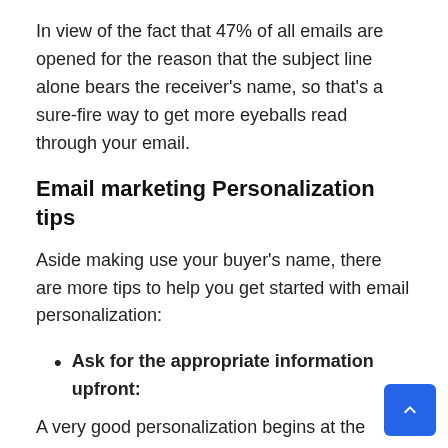In view of the fact that 47% of all emails are opened for the reason that the subject line alone bears the receiver's name, so that's a sure-fire way to get more eyeballs read through your email.
Email marketing Personalization tips
Aside making use your buyer's name, there are more tips to help you get started with email personalization:
Ask for the appropriate information upfront:
A very good personalization begins at the onset